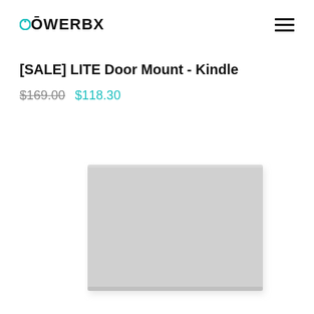POWERBX
[SALE] LITE Door Mount - Kindle
$169.00  $118.30
[Figure (photo): Product photo of a light grey rectangular device mount (LITE Door Mount for Kindle), shown at a slight angle with a plain white background. The device is a flat, landscape-oriented grey panel.]